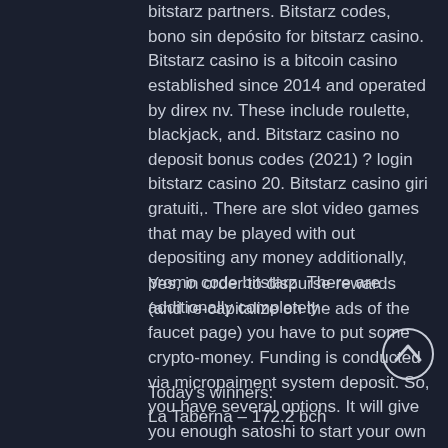bitstarz partners. Bitstarz codes, bono sin depósito for bitstarz casino. Bitstarz casino is a bitcoin casino established since 2014 and operated by direx nv. These include roulette, blackjack, and. Bitstarz casino no deposit bonus codes (2021) ? login bitstarz casino 20. Bitstarz casino giri gratuiti,. There are slot video games that may be played with out depositing any money additionally, promo code bitstarz. There are additionally completely
Yes, in order to dispurse rewards (and re-capitalize on the ads of the faucet page) you have to put some crypto-money. Funding is conducted via micropaiment system deposit. So, you have several options. It will give you enough satoshi to start your own faucet. You also may send your visitors to https://wmexp, bitstarz bono sin depósito code.
Today's winners:
La Taberna – 172.2 bch